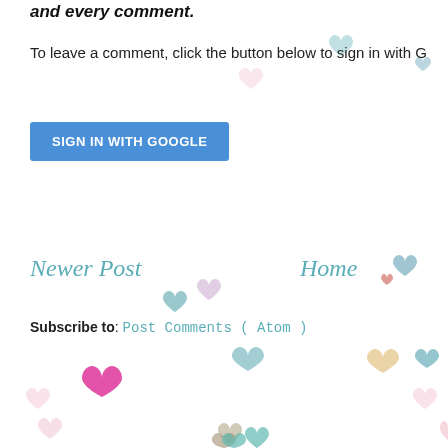and every comment.
To leave a comment, click the button below to sign in with G
[Figure (other): Blue 'SIGN IN WITH GOOGLE' button]
Newer Post
Home
Subscribe to: Post Comments ( Atom )
[Figure (illustration): Scattered colorful heart shapes decorating the background]